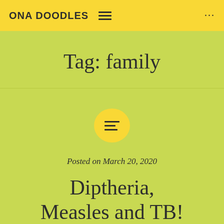ONA DOODLES
Tag: family
[Figure (illustration): Yellow circle icon with three horizontal lines (menu/list icon) centered in the green content area]
Posted on March 20, 2020
Diptheria, Measles and TB!